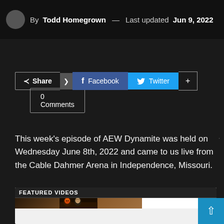By Todd Homegrown — Last updated Jun 9, 2022
0 Comments
Share | Facebook | Twitter | +
This week's episode of AEW Dynamite was held on Wednesday June 8th, 2022 and came to us live from the Cable Dahmer Arena in Independence, Missouri.
FEATURED VIDEOS
[Figure (photo): Two wrestlers in a match, one wearing a colorful mask]